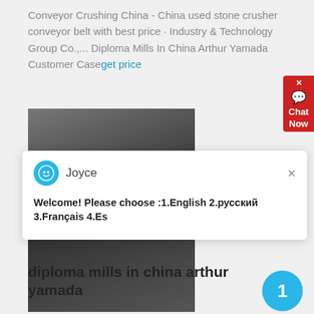Conveyor Crushing China - China used stone crusher conveyor belt with best price · Industry & Technology Group Co.,... Diploma Mills In China Arthur Yamada Customer Case get price
[Figure (photo): Black and white photo of industrial machinery or stone crusher equipment]
[Figure (screenshot): Chat popup overlay showing Joyce avatar with message: Welcome! Please choose :1.English 2.русский 3.Français 4.Es. With a close X button.]
diploma mills in china arthur yamada
Mining and Grinding Mill China. ... best prices for portable impact crushers grinding mill china; diploma mills in china arthur yamada customer case; Read More. arthur yamada china degree mill - ... Menjual grinding